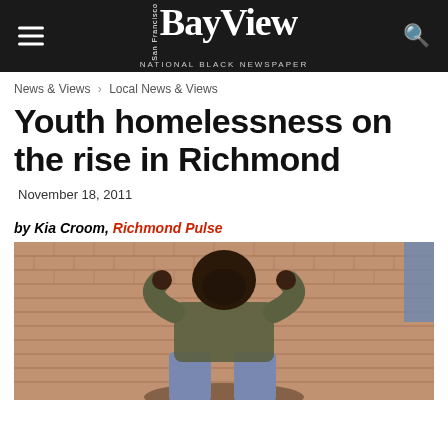San Francisco Bay View – National Black Newspaper
News & Views › Local News & Views
Youth homelessness on the rise in Richmond
November 18, 2011
by Kia Croom, Richmond Pulse
[Figure (photo): Young Black man sitting against a brick wall with hands clasped behind his head, wearing a camouflage jacket and jeans]